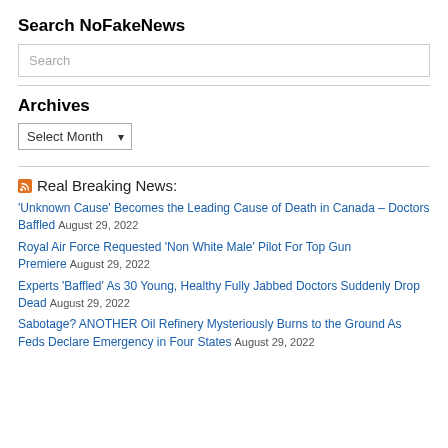Search NoFakeNews
Search
Archives
Select Month
Real Breaking News:
‘Unknown Cause’ Becomes the Leading Cause of Death in Canada – Doctors Baffled August 29, 2022
Royal Air Force Requested ‘Non White Male’ Pilot For Top Gun Premiere August 29, 2022
Experts ‘Baffled’ As 30 Young, Healthy Fully Jabbed Doctors Suddenly Drop Dead August 29, 2022
Sabotage? ANOTHER Oil Refinery Mysteriously Burns to the Ground As Feds Declare Emergency in Four States August 29, 2022